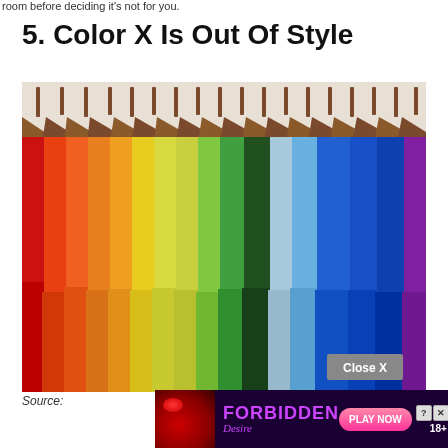room before deciding it’s not for you.
5. Color X Is Out Of Style
[Figure (photo): Colorful t-shirts hanging on wooden hangers in a row, arranged in rainbow order from red/orange on the left through yellow, green, light blue to blue and purple on the right, against a white background. A 'Close X' button overlay appears in the lower right of the photo.]
Source:
[Figure (screenshot): Advertisement banner for 'Forbidden Desire' game with dark purple background, red lips with cherry, pink/purple text, PLAY NOW button, 18+ label, and close/question mark icons]